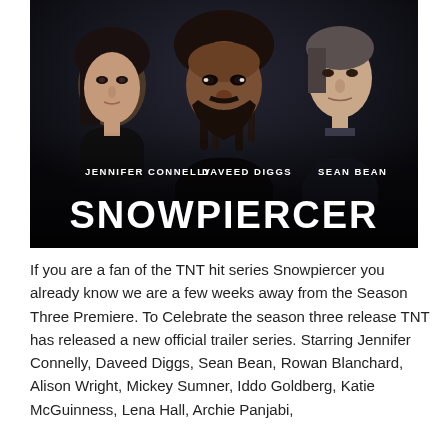[Figure (photo): Promotional poster for the TNT series Snowpiercer featuring three actors: Jennifer Connelly on the left, Daveed Diggs in the center, and Sean Bean on the right, with the show title 'SNOWPIERCER' in large white bold letters at the bottom.]
If you are a fan of the TNT hit series Snowpiercer you already know we are a few weeks away from the Season Three Premiere. To Celebrate the season three release TNT has released a new official trailer series. Starring Jennifer Connelly, Daveed Diggs, Sean Bean, Rowan Blanchard, Alison Wright, Mickey Sumner, Iddo Goldberg, Katie McGuinness, Lena Hall, Archie Panjabi,